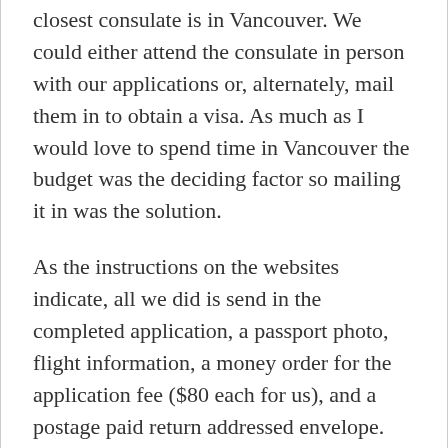closest consulate is in Vancouver. We could either attend the consulate in person with our applications or, alternately, mail them in to obtain a visa. As much as I would love to spend time in Vancouver the budget was the deciding factor so mailing it in was the solution.
As the instructions on the websites indicate, all we did is send in the completed application, a passport photo, flight information, a money order for the application fee ($80 each for us), and a postage paid return addressed envelope. Easy-peasy.
We sent the applications in right before Christmas and they were returned to us by New Years. Showing up at the consulate would have been even quicker. Can't argue with that!